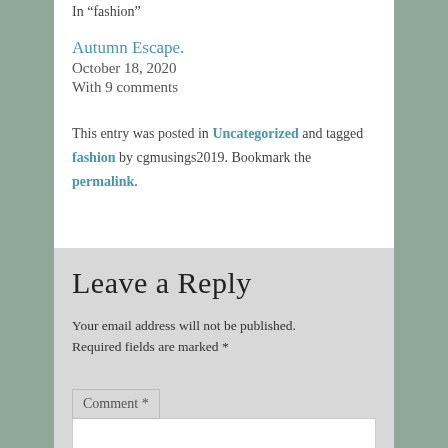In “fashion”
Autumn Escape.
October 18, 2020
With 9 comments
This entry was posted in Uncategorized and tagged fashion by cgmusings2019. Bookmark the permalink.
Leave a Reply
Your email address will not be published. Required fields are marked *
Comment *